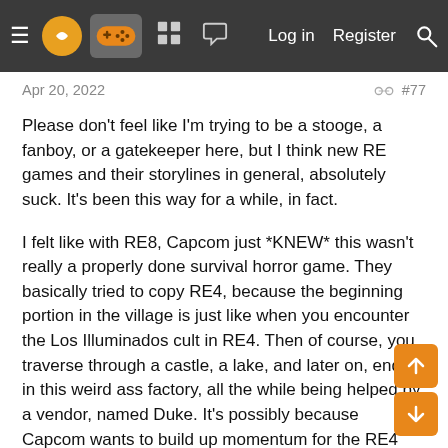Navigation bar with menu, logo, controller icon, grid icon, chat icon, Log in, Register, Search
Apr 20, 2022   #77
Please don't feel like I'm trying to be a stooge, a fanboy, or a gatekeeper here, but I think new RE games and their storylines in general, absolutely suck. It's been this way for a while, in fact.
I felt like with RE8, Capcom just *KNEW* this wasn't really a properly done survival horror game. They basically tried to copy RE4, because the beginning portion in the village is just like when you encounter the Los Illuminados cult in RE4. Then of course, you traverse through a castle, a lake, and later on, end up in this weird ass factory, all the while being helped by a vendor, named Duke. It's possibly because Capcom wants to build up momentum for the RE4 remake.
I mean, the game ain't bad. But it doesn't really "feel" like a RE game from yesteryear, besides of course, RE4 (which I consider to be somewhat overrated). RE4 isn't all that terrifying. But some enemies are scary.